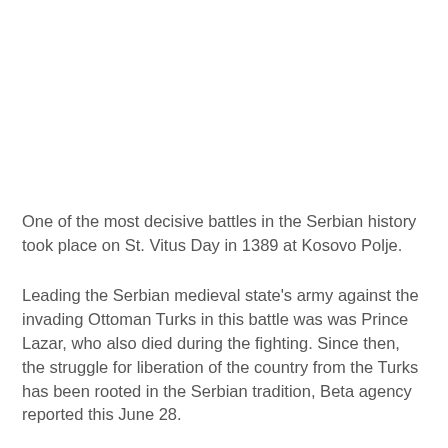One of the most decisive battles in the Serbian history took place on St. Vitus Day in 1389 at Kosovo Polje.
Leading the Serbian medieval state's army against the invading Ottoman Turks in this battle was was Prince Lazar, who also died during the fighting. Since then, the struggle for liberation of the country from the Turks has been rooted in the Serbian tradition, Beta agency reported this June 28.